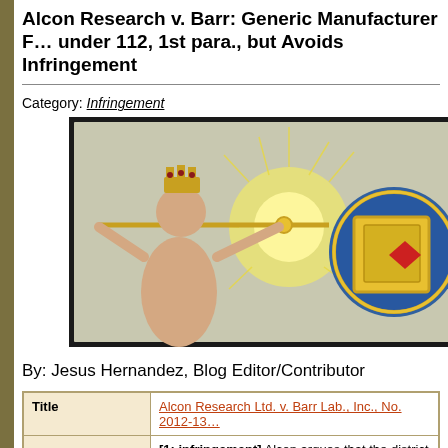Alcon Research v. Barr: Generic Manufacturer F… under 112, 1st para., but Avoids Infringement
Category: Infringement
[Figure (illustration): Historical illustration of a crowned figure holding a golden staff/scepter with radiating light, and a blue and gold circular emblem/shield to the right]
By: Jesus Hernandez, Blog Editor/Contributor
| Title | Alcon Research Ltd. v. Barr Lab., Inc., No. 2012-13… |
|  | [1: infringement] Alcon argues that the district cou… |